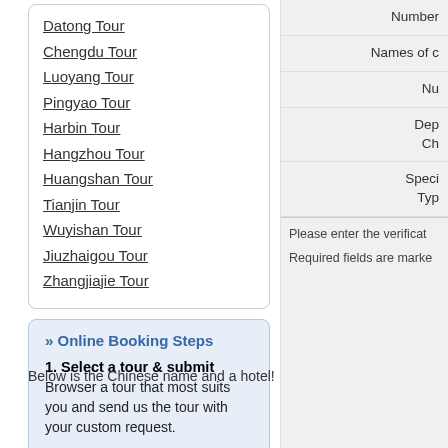Datong Tour
Chengdu Tour
Luoyang Tour
Pingyao Tour
Harbin Tour
Hangzhou Tour
Huangshan Tour
Tianjin Tour
Wuyishan Tour
Jiuzhaigou Tour
Zhangjiajie Tour
» Online Booking Steps
1. Select a tour & submit
Browser a tour that most suits you and send us the tour with your custom request.
2. Quote for your tour
Receive our tour proposal with rates in one working day.
3. Adjust your tour
Number
Names of c
Nu
Dep
Ch
Speci
Typ
Please enter the verificat
Required fields are marke
Below is the Chinese name and a hotel!